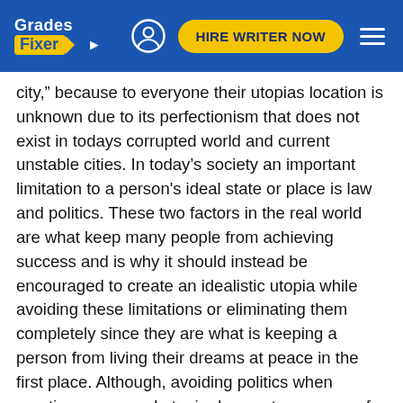Grades Fixer | HIRE WRITER NOW
city," because to everyone their utopias location is unknown due to its perfectionism that does not exist in todays corrupted world and current unstable cities. In today's society an important limitation to a person's ideal state or place is law and politics. These two factors in the real world are what keep many people from achieving success and is why it should instead be encouraged to create an idealistic utopia while avoiding these limitations or eliminating them completely since they are what is keeping a person from living their dreams at peace in the first place. Although, avoiding politics when creating a personal utopia does not come easy for many people, especially since as Charles Zarka mentioned, "At the end of the modern world, in the 20th century, utopia became political." Today many decisions are made strictly on politics and on who